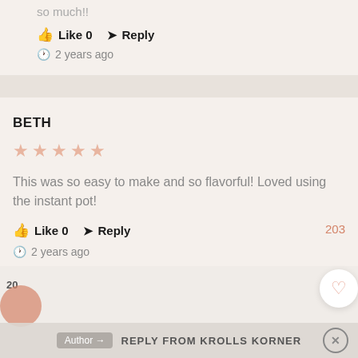so much!!
Like 0   Reply   2 years ago
BETH
★★★★★
This was so easy to make and so flavorful! Loved using the instant pot!
Like 0   Reply   203   2 years ago
Author   REPLY FROM KROLLS KORNER   X